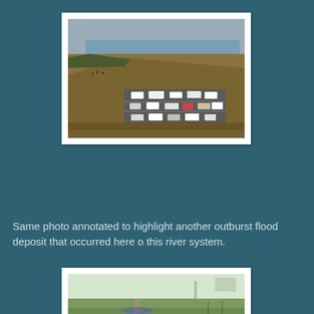[Figure (photo): Aerial view of a landscape with a river or reservoir in the upper portion, golden/brown moorland slopes, and a car park with numerous vehicles visible in the middle of the image.]
Same photo annotated to highlight another outburst flood deposit that occurred here o this river system.
[Figure (photo): Aerial or elevated view of a flat green agricultural landscape with mist or haze, showing a long line of animals (cattle/livestock) along a track, with green fields and fencing visible.]